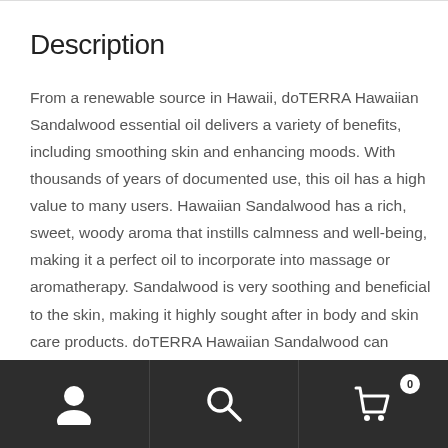Description
From a renewable source in Hawaii, doTERRA Hawaiian Sandalwood essential oil delivers a variety of benefits, including smoothing skin and enhancing moods. With thousands of years of documented use, this oil has a high value to many users. Hawaiian Sandalwood has a rich, sweet, woody aroma that instills calmness and well-being, making it a perfect oil to incorporate into massage or aromatherapy. Sandalwood is very soothing and beneficial to the skin, making it highly sought after in body and skin care products. doTERRA Hawaiian Sandalwood can reduce the appearance of skin
[navigation bar with person icon, search icon, cart icon with badge 0]